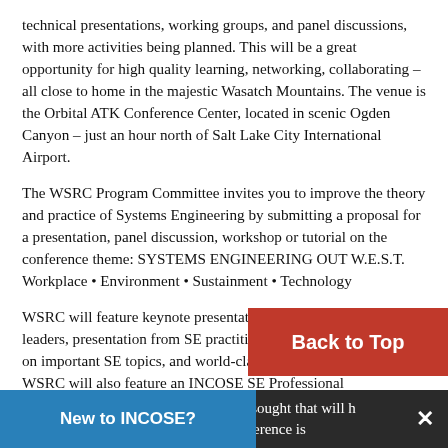technical presentations, working groups, and panel discussions, with more activities being planned. This will be a great opportunity for high quality learning, networking, collaborating – all close to home in the majestic Wasatch Mountains. The venue is the Orbital ATK Conference Center, located in scenic Ogden Canyon – just an hour north of Salt Lake City International Airport.
The WSRC Program Committee invites you to improve the theory and practice of Systems Engineering by submitting a proposal for a presentation, panel discussion, workshop or tutorial on the conference theme: SYSTEMS ENGINEERING OUT W.E.S.T.
Workplace • Environment • Sustainment • Technology
WSRC will feature keynote presentations from SE thought leaders, presentation from SE practitioners and academia, panels on important SE topics, and world-class tutorials from SE experts. WSRC will also feature an INCOSE SE Professional Development Day (SE-PDD), a virtual extension of the conference, with featured sessions broadcast to several satellite sites. Some accepted submittal [s] will be invited to participate in the SE-PDD track.
Prop[osals] of half-hour length are sought that will [hel]p impr[ove Systems Engineeri]ng. Format for this conference is
[Figure (screenshot): Red 'Back to Top' button overlay on the lower right of the page]
[Figure (screenshot): Blue 'New to INCOSE?' button at the bottom left with an X close button at bottom right]